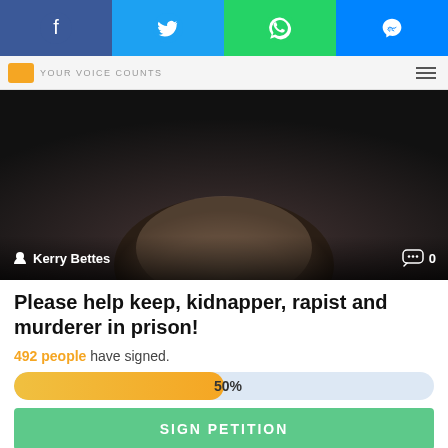Facebook | Twitter | WhatsApp | Messenger share buttons
YOUR VOICE COUNTS
[Figure (photo): Close-up photo of a bald or balding person's head from above, dark background. Caption shows user 'Kerry Bettes' and comment count 0.]
Please help keep, kidnapper, rapist and murderer in prison!
492 people have signed.
50%
SIGN PETITION